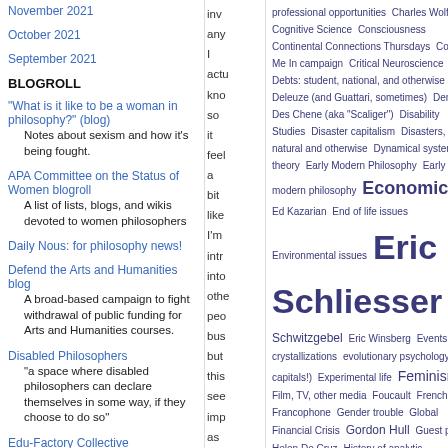November 2021
October 2021
September 2021
BLOGROLL
"What is it like to be a woman in philosophy?" (blog)
Notes about sexism and how it's being fought.
APA Committee on the Status of Women blogroll
A list of lists, blogs, and wikis devoted to women philosophers
Daily Nous: for philosophy news!
Defend the Arts and Humanities blog
A broad-based campaign to fight withdrawal of public funding for Arts and Humanities courses.
Disabled Philosophers
"a space where disabled philosophers can declare themselves in some way, if they choose to do so"
Edu-Factory Collective
inv any I actu kno so it feel a bit like I'm intr into othe peo bus but this see imp as a
professional opportunities Charles Wolfe Cognitive Science Consciousness Continental Connections Thursdays Count Me In campaign Critical Neuroscience Debts: student, national, and otherwise Deleuze (and Guattari, sometimes) Dennis Des Chene (aka "Scaliger") Disability Studies Disaster capitalism Disasters, natural and otherwise Dynamical systems theory Early Modern Philosophy Early modern philosophy Economics Ed Kazarian End of life issues Environmental issues Eric Schliesser Eric Schwitzgebel Eric Winsberg Events as crystallizations evolutionary psychology (w/o capitals!) Experimental life Feminism Film, TV, other media Foucault French and Francophone Gender trouble Global Financial Crisis Gordon Hull Guest posts Helen De Cruz History of analytic philosophy History of philosophy History of science Hungary immaterial labor, the social factory, and other Autonomia notions implicit bias Improving the philosophy profession in memoriam Intellectual property and its discontents Interdisciplinary work